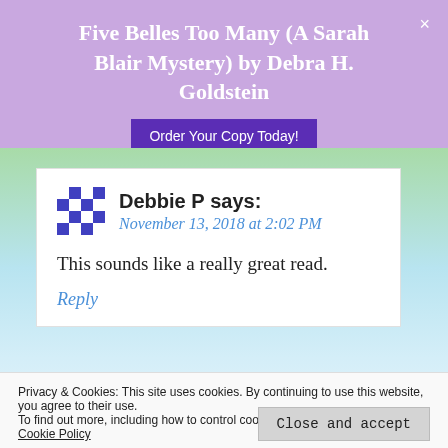Five Belles Too Many (A Sarah Blair Mystery) by Debra H. Goldstein
Order Your Copy Today!
Debbie P says:
November 13, 2018 at 2:02 PM
This sounds like a really great read.
Reply
Privacy & Cookies: This site uses cookies. By continuing to use this website, you agree to their use.
To find out more, including how to control cookies, see here: Cookie Policy
Close and accept
This is a new author for me and this